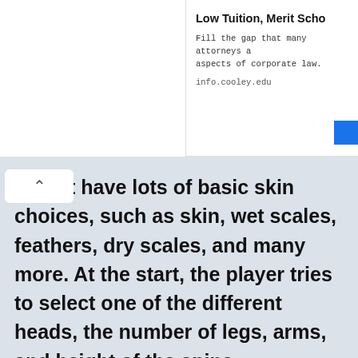[Figure (screenshot): Top right ad banner: 'Low Tuition, Merit Scho...' with body text 'Fill the gap that many attorneys a... aspects of corporate law.' and URL 'info.cooley.edu' with a blue button.]
r must have lots of basic skin choices, such as skin, wet scales, feathers, dry scales, and many more. At the start, the player tries to select one of the different heads, the number of legs, arms, and height of the spine.
[Figure (screenshot): Orange 'SHOW DETAILS' button with info icon.]
[Figure (screenshot): Bottom ad: 'Get Up To $110 Off a Set of 4 Select Firestone Tires' with Firestone tire & auto logo and blue diamond navigation icon.]